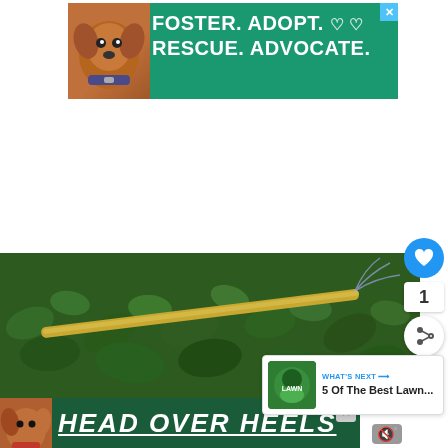[Figure (screenshot): Top banner advertisement with green background showing a brown dog and text: FOSTER. ADOPT. RESCUE. ADVOCATE. with heart icons, blue X close button]
[Figure (screenshot): Social interaction sidebar with blue heart button, count of 1, and share button]
1
[Figure (screenshot): What's Next panel showing thumbnail of lawn product with text: WHAT'S NEXT → 5 Of The Best Lawn...]
[Figure (photo): Photo of green plants/hedge with yellow garden hose, water spraying]
[Figure (screenshot): Bottom banner advertisement with dark green background showing a dog and bold white italic text: HEAD OVER HEELS, with X close button and mute icon]